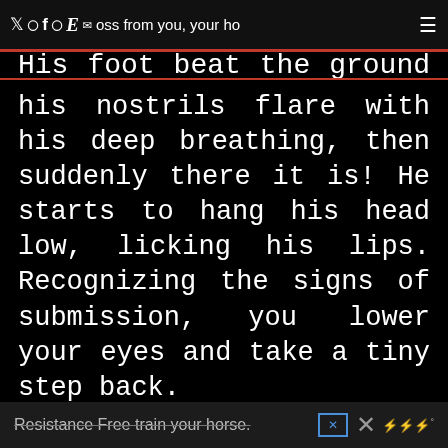social media icons and navigation header bar
His foot beat the ground in a rhythmic pulse, his nostrils flare with his deep breathing, then suddenly there it is! He starts to hang his head low, licking his lips. Recognizing the signs of submission, you lower your eyes and take a tiny step back.

Bam! His attentive gaze saw your movement and his whole body whipped around to face you. Head high, he walks toward you. You put out your hand and stroke his warm nose. It is very hard to paint a picture of what it's like to
Resistance Free train your horse.